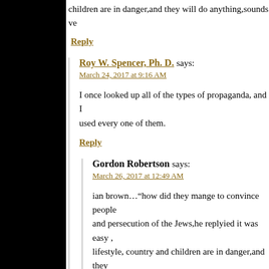children are in danger,and they will do anything,sounds ve
Reply
Roy W. Spencer, Ph. D. says:
March 24, 2017 at 9:16 AM
I once looked up all of the types of propaganda, and I used every one of them.
Reply
Gordon Robertson says:
March 26, 2017 at 12:49 AM
ian brown…“how did they mange to convince people and persecution of the Jews,he replyied it was easy , lifestyle, country and children are in danger,and they very familiar…”